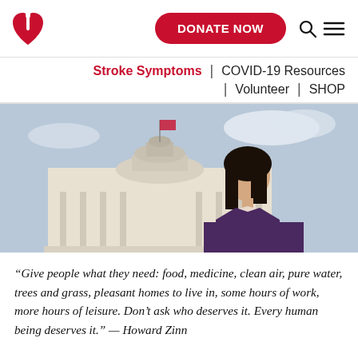[Figure (logo): American Heart Association logo — red heart with flame and torch]
DONATE NOW
Stroke Symptoms | COVID-19 Resources | Volunteer | SHOP
[Figure (photo): Woman standing in front of a government building (Capitol-like structure) looking upward, wearing a dark purple blazer]
“Give people what they need: food, medicine, clean air, pure water, trees and grass, pleasant homes to live in, some hours of work, more hours of leisure. Don’t ask who deserves it. Every human being deserves it.” — Howard Zinn